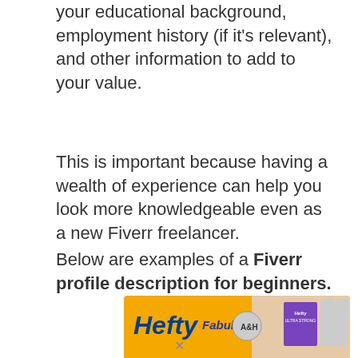your educational background, employment history (if it's relevant), and other information to add to your value.
This is important because having a wealth of experience can help you look more knowledgeable even as a new Fiverr freelancer.
Below are examples of a Fiverr profile description for beginners.
[Figure (other): Hefty advertisement banner showing Hefty, Fabuloso, and Arm & Hammer product logos with text 'HEFTY STRONG']